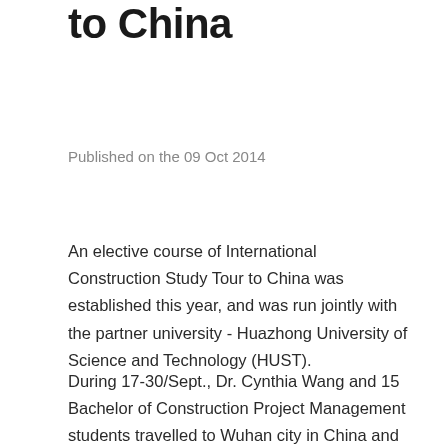to China
Published on the 09 Oct 2014
An elective course of International Construction Study Tour to China was established this year, and was run jointly with the partner university - Huazhong University of Science and Technology (HUST).
During 17-30/Sept., Dr. Cynthia Wang and 15 Bachelor of Construction Project Management students travelled to Wuhan city in China and lived on the partner university's campus. Students